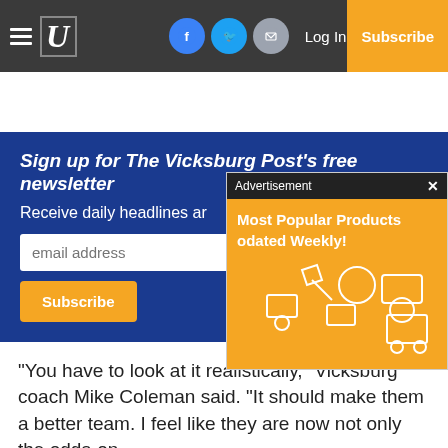The Vicksburg Post navigation bar with hamburger menu, logo, Facebook, Twitter, Email buttons, Log In, and Subscribe
[Figure (screenshot): Newsletter signup section with blue background, email input field, and Subscribe button, overlaid by an advertisement popup for 'Most Popular Products Updated Weekly!' on orange background]
“You have to look at it realistically,” Vicksburg coach Mike Coleman said. “It should make them a better team. I feel like they are now not only the odds-on